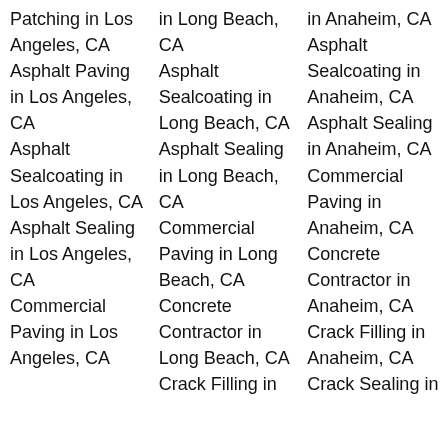Patching in Los Angeles, CA
Asphalt Paving in Los Angeles, CA
Asphalt Sealcoating in Los Angeles, CA
Asphalt Sealing in Los Angeles, CA
Commercial Paving in Los Angeles, CA
in Long Beach, CA
Asphalt Sealcoating in Long Beach, CA
Asphalt Sealing in Long Beach, CA
Commercial Paving in Long Beach, CA
Concrete Contractor in Long Beach, CA
Crack Filling in
in Anaheim, CA
Asphalt Sealcoating in Anaheim, CA
Asphalt Sealing in Anaheim, CA
Commercial Paving in Anaheim, CA
Concrete Contractor in Anaheim, CA
Crack Filling in Anaheim, CA
Crack Sealing in